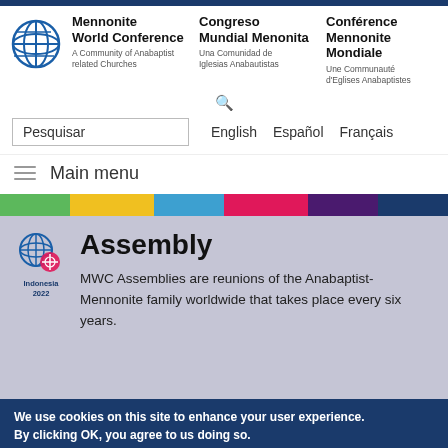[Figure (logo): Mennonite World Conference globe logo with cross and world grid lines, in blue]
Mennonite World Conference
A Community of Anabaptist related Churches
Congreso Mundial Menonita
Una Comunidad de Iglesias Anabautistas
Conférence Mennonite Mondiale
Une Communauté d'Eglises Anabaptistes
Pesquisar
English   Español   Français
Main menu
[Figure (logo): MWC Assembly Indonesia 2022 logo with globe and red circle motif]
Assembly
MWC Assemblies are reunions of the Anabaptist-Mennonite family worldwide that takes place every six years.
We use cookies on this site to enhance your user experience. By clicking OK, you agree to us doing so.